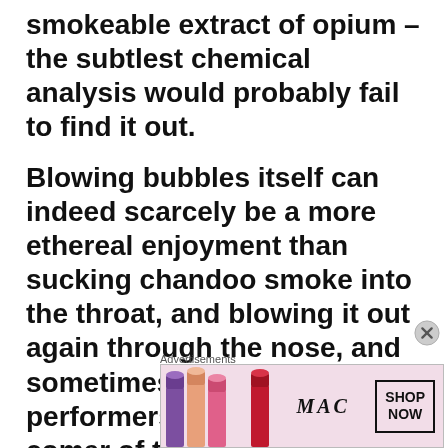smokeable extract of opium – the subtlest chemical analysis would probably fail to find it out.
Blowing bubbles itself can indeed scarcely be a more ethereal enjoyment than sucking chandoo smoke into the throat, and blowing it out again through the nose, and sometimes, by finished performers, through the inner comer of the eyes.
I am not approving the use of
Advertisements
[Figure (advertisement): MAC cosmetics advertisement banner showing lipsticks in purple, peach, and pink, MAC logo, and a 'SHOP NOW' box button]